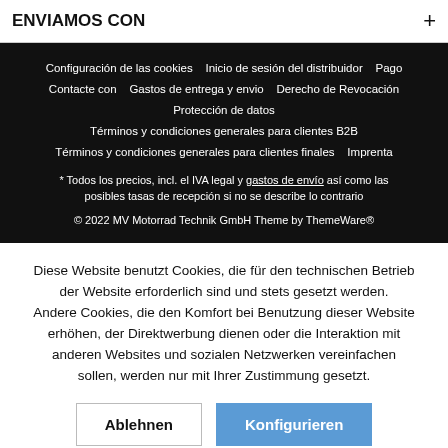ENVIAMOS CON +
Configuración de las cookies   Inicio de sesión del distribuidor   Pago   Contacte con   Gastos de entrega y envio   Derecho de Revocación   Protección de datos   Términos y condiciones generales para clientes B2B   Términos y condiciones generales para clientes finales   Imprenta
* Todos los precios, incl. el IVA legal y gastos de envío así como las posibles tasas de recepción si no se describe lo contrario
© 2022 MV Motorrad Technik GmbH Theme by ThemeWare®
Diese Website benutzt Cookies, die für den technischen Betrieb der Website erforderlich sind und stets gesetzt werden. Andere Cookies, die den Komfort bei Benutzung dieser Website erhöhen, der Direktwerbung dienen oder die Interaktion mit anderen Websites und sozialen Netzwerken vereinfachen sollen, werden nur mit Ihrer Zustimmung gesetzt.
Ablehnen    Konfigurieren